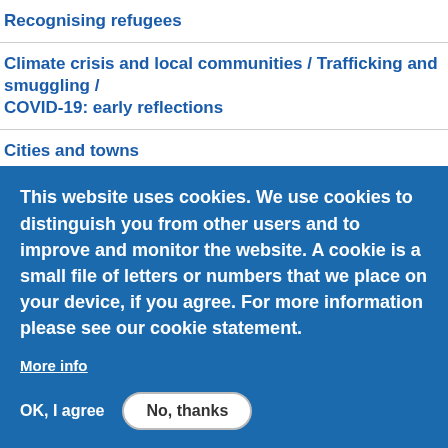Recognising refugees
Climate crisis and local communities / Trafficking and smuggling / COVID-19: early reflections
Cities and towns
Return: voluntary, safe, dignified and durable?
the ETHICS issue
Education: needs, rights and access in displacement
Twenty Years of the Guiding Principles on Internal Displacement
This website uses cookies. We use cookies to distinguish you from other users and to improve and monitor the website. A cookie is a small file of letters or numbers that we place on your device, if you agree. For more information please see our cookie statement.
More info
OK, I agree
No, thanks